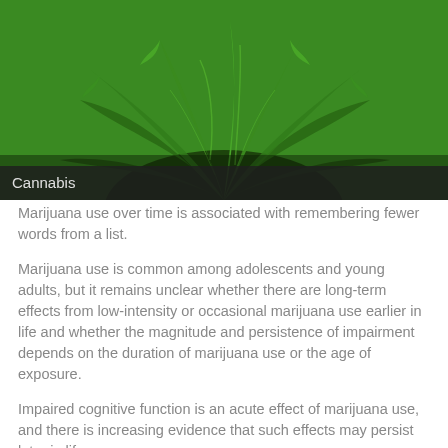[Figure (photo): Close-up photograph of cannabis plant leaves, showing green serrated leaves with visible veins and fine hairs. A dark semi-transparent caption bar at the bottom reads 'Cannabis'.]
Cannabis
Marijuana use over time is associated with remembering fewer words from a list.
Marijuana use is common among adolescents and young adults, but it remains unclear whether there are long-term effects from low-intensity or occasional marijuana use earlier in life and whether the magnitude and persistence of impairment depends on the duration of marijuana use or the age of exposure.
Impaired cognitive function is an acute effect of marijuana use, and there is increasing evidence that such effects may persist later in life.
Heavy, long-term use of marijuana has been